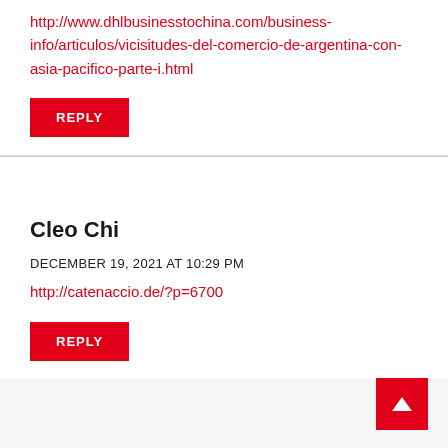http://www.dhlbusinesstochina.com/business-info/articulos/vicisitudes-del-comercio-de-argentina-con-asia-pacifico-parte-i.html
REPLY
Cleo Chi
DECEMBER 19, 2021 AT 10:29 PM
http://catenaccio.de/?p=6700
REPLY